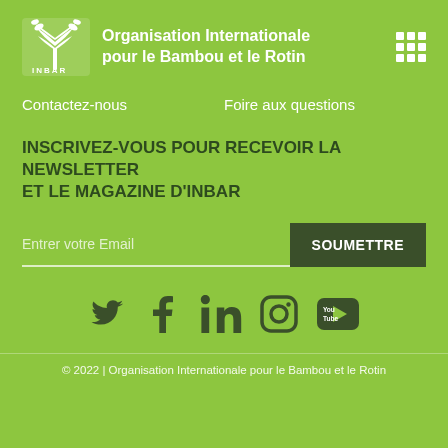Organisation Internationale pour le Bambou et le Rotin
Contactez-nous    Foire aux questions
INSCRIVEZ-VOUS POUR RECEVOIR LA NEWSLETTER ET LE MAGAZINE D'INBAR
Entrer votre Email
SOUMETTRE
[Figure (infographic): Social media icons: Twitter, Facebook, LinkedIn, Instagram, YouTube]
© 2022 | Organisation Internationale pour le Bambou et le Rotin